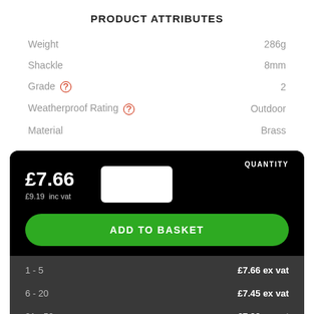PRODUCT ATTRIBUTES
| Attribute | Value |
| --- | --- |
| Weight | 286g |
| Shackle | 8mm |
| Grade (?) | 2 |
| Weatherproof Rating (?) | Outdoor |
| Material | Brass |
QUANTITY
£7.66
£9.19  inc vat
ADD TO BASKET
1 - 5   £7.66 ex vat
6 - 20   £7.45 ex vat
21 - 50   £7.23 ex vat